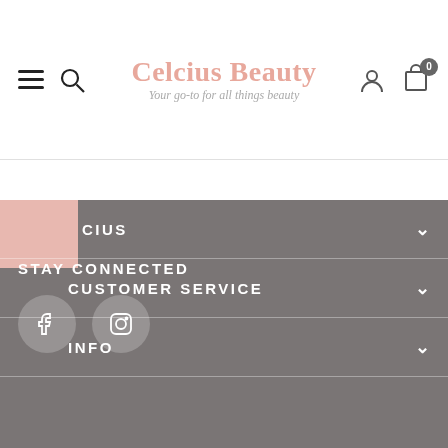[Figure (logo): Celcius Beauty logo with tagline 'Your go-to for all things beauty']
CIUS
CUSTOMER SERVICE
INFO
STAY CONNECTED
[Figure (illustration): Facebook and Instagram social media icon buttons (circular)]